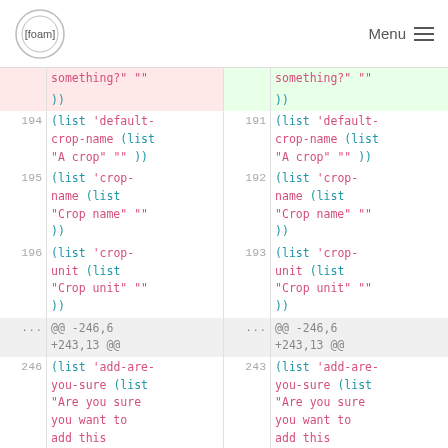[foam] Menu
| lnum | left-code | rnum | right-code |
| --- | --- | --- | --- |
|  | something?" "" |  | something?" "" |
|  | )) |  | )) |
| 194 | (list 'default-crop-name (list "A crop" "" )) | 191 | (list 'default-crop-name (list "A crop" "" )) |
| 195 | (list 'crop-name (list "Crop name" "" )) | 192 | (list 'crop-name (list "Crop name" "" )) |
| 196 | (list 'crop-unit (list "Crop unit" "" )) | 193 | (list 'crop-unit (list "Crop unit" "" )) |
| ... | @@ -246,6 +243,13 @@ | ... | @@ -246,6 +243,13 @@ |
| 246 | (list 'add-are-you-sure (list "Are you sure you want to add this individual?" )) | 243 | (list 'add-are-you-sure (list "Are you sure you want to add this individual?" )) |